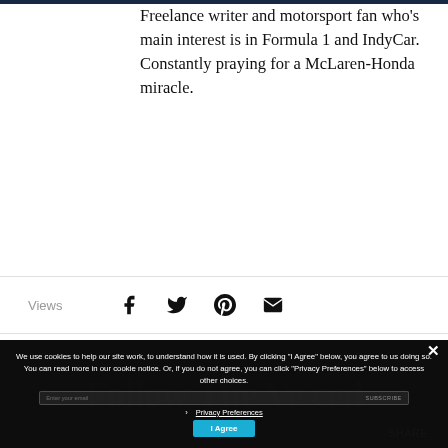Freelance writer and motorsport fan who's main interest is in Formula 1 and IndyCar. Constantly praying for a McLaren-Honda miracle.
Views
[Figure (infographic): Social share icons: Facebook, Twitter, Pinterest, Email]
We use cookies to help our site work, to understand how it is used. By clicking "I Agree" below, you agree to us doing so. You can read more in our cookie notice. Or, if you do not agree, you can click "Privacy Preferences" below to access other choices.
Privacy Preferences
I Agree